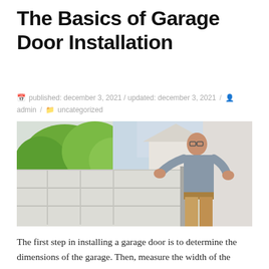The Basics of Garage Door Installation
published: december 3, 2021 / updated: december 3, 2021 / admin / uncategorized
[Figure (photo): A man wearing glasses and a tool belt installing or lifting a white garage door panel outdoors, with trees and a house visible in the background.]
The first step in installing a garage door is to determine the dimensions of the garage. Then, measure the width of the opening, then